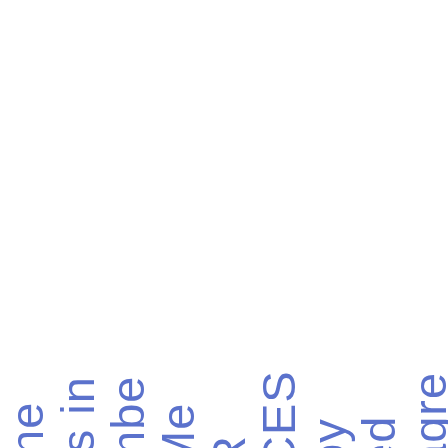agreed by CESR Members in the area of the Secondary Markets Standing Committee